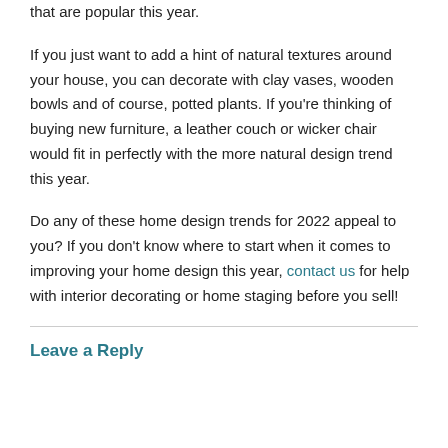that are popular this year.
If you just want to add a hint of natural textures around your house, you can decorate with clay vases, wooden bowls and of course, potted plants. If you're thinking of buying new furniture, a leather couch or wicker chair would fit in perfectly with the more natural design trend this year.
Do any of these home design trends for 2022 appeal to you? If you don't know where to start when it comes to improving your home design this year, contact us for help with interior decorating or home staging before you sell!
Leave a Reply